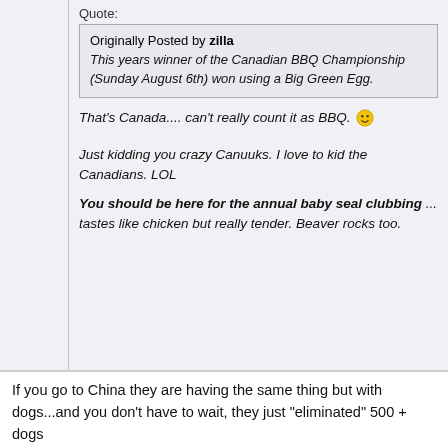Quote:
Originally Posted by zilla
This years winner of the Canadian BBQ Championship (Sunday August 6th) won using a Big Green Egg.
That's Canada.... can't really count it as BBQ. [emoji]
Just kidding you crazy Canuuks. I love to kid the Canadians. LOL
You should be here for the annual baby seal clubbing ... tastes like chicken but really tender. Beaver rocks too.
If you go to China they are having the same thing but with dogs...and you don't have to wait, they just "eliminated" 500 + dogs
08-07-2006, 05:10 PM   #66